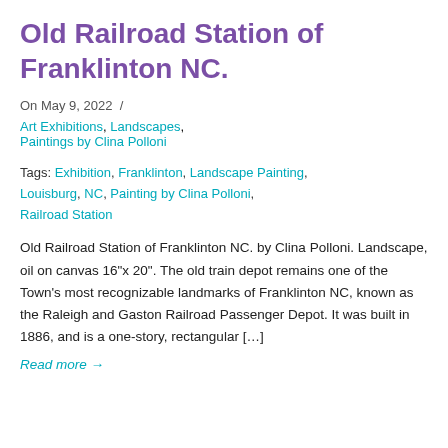Old Railroad Station of Franklinton NC.
On May 9, 2022  /
Art Exhibitions, Landscapes, Paintings by Clina Polloni
Tags: Exhibition, Franklinton, Landscape Painting, Louisburg, NC, Painting by Clina Polloni, Railroad Station
Old Railroad Station of Franklinton NC. by Clina Polloni. Landscape, oil on canvas 16"x 20". The old train depot remains one of the Town's most recognizable landmarks of Franklinton NC, known as the Raleigh and Gaston Railroad Passenger Depot. It was built in 1886, and is a one-story, rectangular […]
Read more →